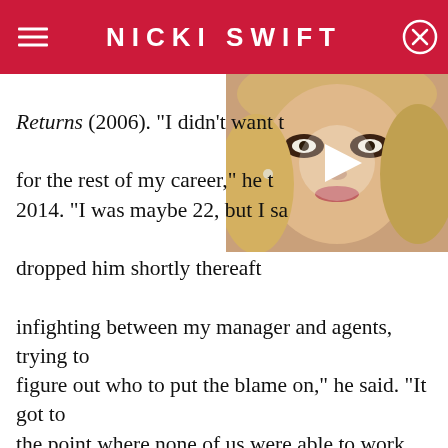NICKI SWIFT
[Figure (photo): Video thumbnail showing a blonde woman with dark eye makeup, with a play button overlay]
Returns (2006). "I didn't want to be known for that for the rest of my career," he told Variety in 2014. "I was maybe 22, but I said no." Routh was dropped him shortly thereafter. "There was a lot of infighting between my manager and agents, trying to figure out who to put the blame on," he said. "It got to the point where none of us were able to work together."